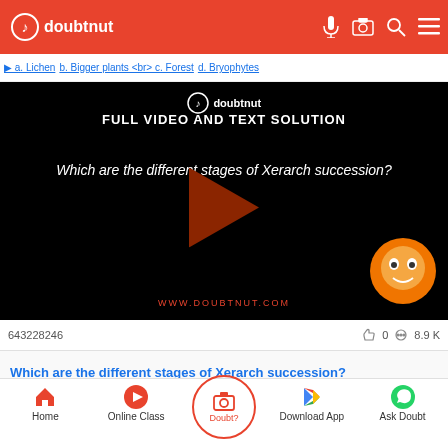doubtnut
a. Lichen   b. Bigger plants <br> c. Forest   d. Bryophytes
[Figure (screenshot): Doubtnut video player showing 'FULL VIDEO AND TEXT SOLUTION' with question 'Which are the different stages of Xerarch succession?' and a play button in the center. Bottom shows www.doubtnut.com and an orange mascot icon.]
643228246   0   8.9 K
Which are the different stages of Xerarch succession?
Home   Online Class   Doubt?   Download App   Ask Doubt